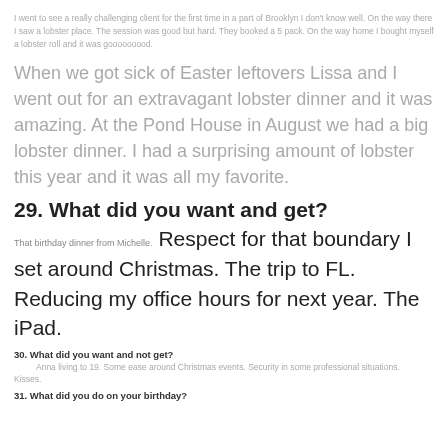I went to see a really challenging client for the first time in a part of Brooklyn I don't know well. On the way there I saw a lobster place. The session was good but hard. They booked a 5 pack. On the way home I bought myself a lobster roll and it was gooooooood.
When we got sick of Easter leftovers Lissa and I went out for an extravagant lobster dinner and it was amazing. At the Pond House in August we had a big lobster dinner. I had a surprising amount of lobster this year and it was all my favorite.
29. What did you want and get?
That birthday dinner from Michelle. Respect for that boundary I set around Christmas. The trip to FL. Reducing my office hours for next year. The iPad.
30. What did you want and not get?
Anna living to 19. Some ease around Christmas events. Security in some professional situations. Kisses.
31. What did you do on your birthday?